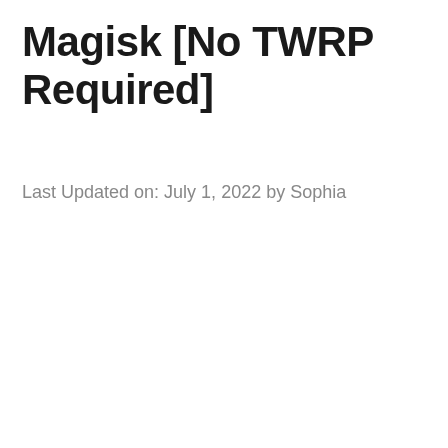Magisk [No TWRP Required]
Last Updated on: July 1, 2022 by Sophia